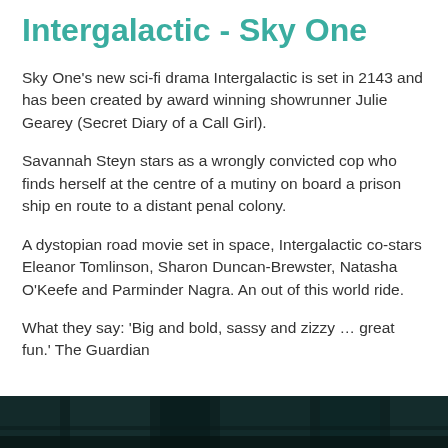Intergalactic - Sky One
Sky One's new sci-fi drama Intergalactic is set in 2143 and has been created by award winning showrunner Julie Gearey (Secret Diary of a Call Girl).
Savannah Steyn stars as a wrongly convicted cop who finds herself at the centre of a mutiny on board a prison ship en route to a distant penal colony.
A dystopian road movie set in space, Intergalactic co-stars Eleanor Tomlinson, Sharon Duncan-Brewster, Natasha O'Keefe and Parminder Nagra. An out of this world ride.
What they say: ‘Big and bold, sassy and zizzy … great fun.’ The Guardian
[Figure (photo): Dark teal/toned still image from the TV show Intergalactic, partially visible at the bottom of the page]